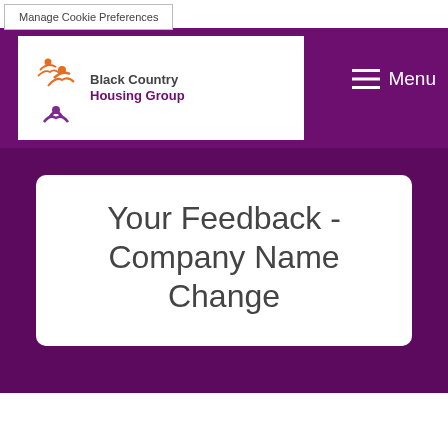Manage Cookie Preferences
[Figure (logo): Black Country Housing Group logo with stylized figures in orange and purple, and text 'Black Country Housing Group']
Menu
Your Feedback - Company Name Change